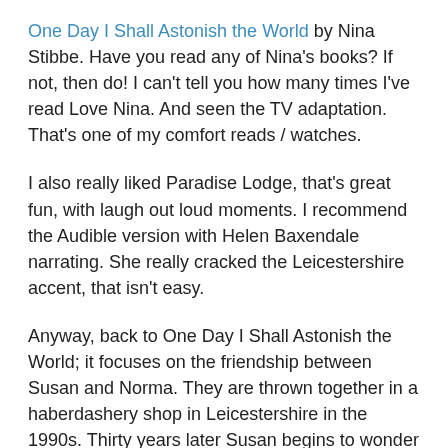One Day I Shall Astonish the World by Nina Stibbe. Have you read any of Nina's books? If not, then do! I can't tell you how many times I've read Love Nina. And seen the TV adaptation. That's one of my comfort reads / watches.
I also really liked Paradise Lodge, that's great fun, with laugh out loud moments. I recommend the Audible version with Helen Baxendale narrating. She really cracked the Leicestershire accent, that isn't easy.
Anyway, back to One Day I Shall Astonish the World; it focuses on the friendship between Susan and Norma. They are thrown together in a haberdashery shop in Leicestershire in the 1990s. Thirty years later Susan begins to wonder about the choices she has made in her life.